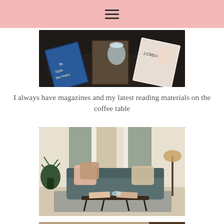≡
[Figure (photo): Close-up of several fashion magazines spread on a dark table, including In Style and J.Crew magazines, with a glass jar in the center]
I always have magazines and my latest reading materials on the coffee table
[Figure (photo): Living room with a blue/teal sofa with pink and tan pillows, a black wrought-iron coffee table with magazines on it, a potted plant on the left, floor lamp on the right, and gray curtains in the background]
[Figure (photo): Partial view of another interior photo, partially cut off at the bottom of the page]